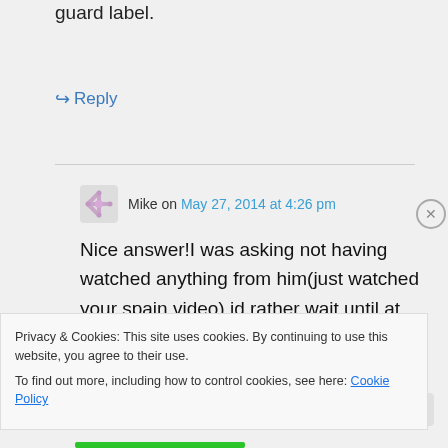guard label.
↪ Reply
Mike on May 27, 2014 at 4:26 pm
Nice answer!I was asking not having watched anything from him(just watched your spain video),id rather wait until at least summer league.
Privacy & Cookies: This site uses cookies. By continuing to use this website, you agree to their use.
To find out more, including how to control cookies, see here: Cookie Policy
Close and accept